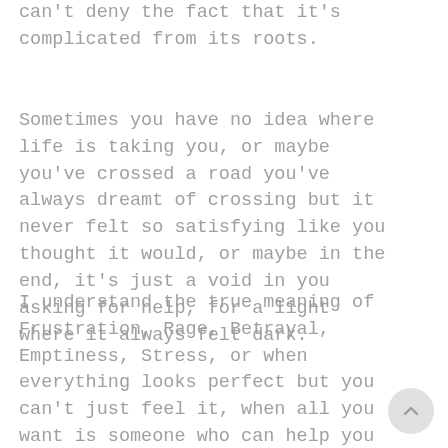can't deny the fact that it's complicated from its roots.
Sometimes you have no idea where life is taking you, or maybe you've crossed a road you've always dreamt of crossing but it never felt so satisfying like you thought it would, or maybe in the end, it's just a void in you asking for help, for a light where it always felt dark.
I understand the true meaning of Frustration, Rage, Betrayal, Emptiness, Stress, or when everything looks perfect but you can't just feel it, when all you want is someone who can help you pick up the pieces you've shattered or someone who could just lend you a hand out of pit, I'll be there, as your life coach I'll show you that life is a